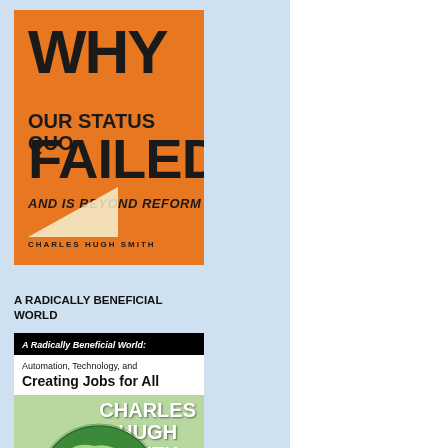[Figure (illustration): Book cover: 'WHY OUR STATUS QUO FAILED AND IS BEYOND REFORM' by Charles Hugh Smith. Orange background with bold black text.]
A RADICALLY BENEFICIAL WORLD
[Figure (illustration): Book cover: 'A Radically Beneficial World: Automation, Technology, and Creating Jobs for All' by Charles Hugh Smith. Green background with globe image. Tagline: 'The future belongs to work that is meaningful']